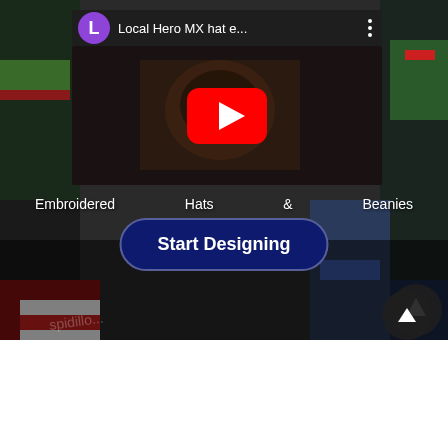[Figure (screenshot): Mobile website screenshot showing a YouTube video embed of 'Local Hero MX hat e...' with a purple avatar 'L' and three-dot menu, overlaid on a motorsports gear/hats background. Below the video is text 'Embroidered Hats & Beanies' and a 'Start Designing' navy blue button. A scroll-to-top arrow button appears bottom right. Lower portion of page is white.]
Embroidered    Hats    &    Beanies
Start Designing